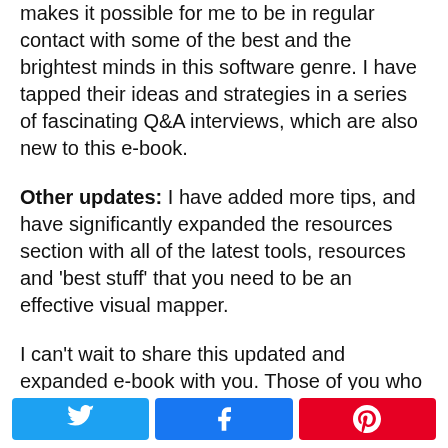makes it possible for me to be in regular contact with some of the best and the brightest minds in this software genre. I have tapped their ideas and strategies in a series of fascinating Q&A interviews, which are also new to this e-book.
Other updates: I have added more tips, and have significantly expanded the resources section with all of the latest tools, resources and 'best stuff' that you need to be an effective visual mapper.
I can't wait to share this updated and expanded e-book with you. Those of you who have already purchased the first edition (and those
[Figure (infographic): Three social share buttons: Twitter (blue), Facebook (dark blue), Pinterest (red), each with their respective icons]